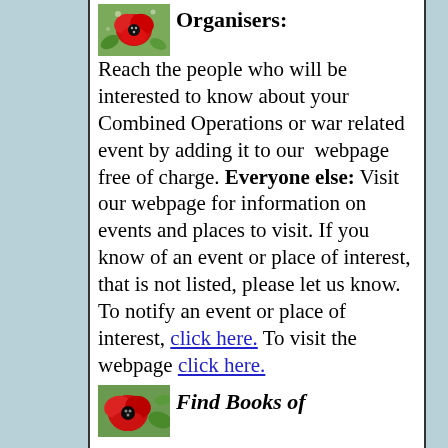[Figure (photo): Red flower/poppy photo in top-left of content box]
Organisers:
Reach the people who will be interested to know about your Combined Operations or war related event by adding it to our webpage free of charge. Everyone else: Visit our webpage for information on events and places to visit. If you know of an event or place of interest, that is not listed, please let us know. To notify an event or place of interest, click here. To visit the webpage click here.
[Figure (photo): Red flower/poppy photo at bottom of content box]
Find Books of Interest